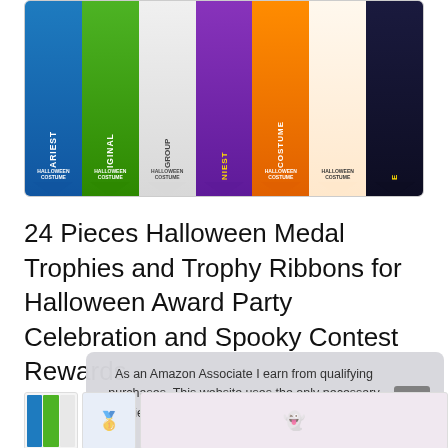[Figure (photo): Product photo showing seven Halloween costume award ribbon strips in a row: Scariest (blue), Most Original (green), Most Group (gray/white), Best Costume (purple), Funniest (orange with pumpkin), ghost ribbon (white), and a dark ribbon with candy design. Each ribbon says 'Halloween Costume' at the bottom and has themed illustrations.]
24 Pieces Halloween Medal Trophies and Trophy Ribbons for Halloween Award Party Celebration and Spooky Contest Rewards
#ad
As an Amazon Associate I earn from qualifying purchases. This website uses the only necessary cookies to ensure you get the best experience on our website. More information
[Figure (photo): Bottom row of product thumbnail images partially visible]